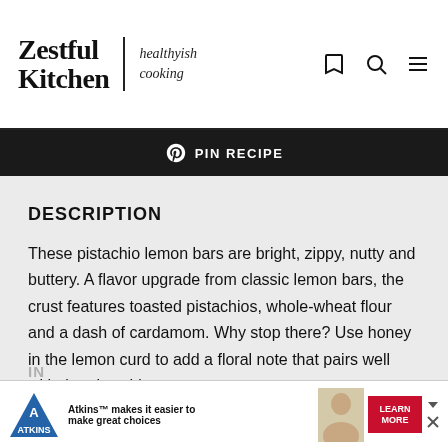Zestful Kitchen | healthyish cooking
DESCRIPTION
These pistachio lemon bars are bright, zippy, nutty and buttery. A flavor upgrade from classic lemon bars, the crust features toasted pistachios, whole-wheat flour and a dash of cardamom. Why stop there? Use honey in the lemon curd to add a floral note that pairs well with the pistachios.
[Figure (screenshot): Advertisement banner: Atkins logo with triangle, text 'Atkins™ makes it easier to make great choices', photo of a man, red LEARN MORE button]
IN